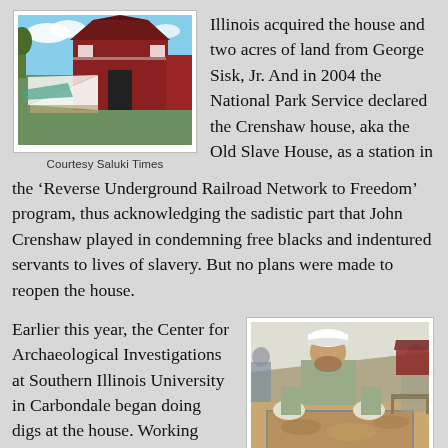[Figure (photo): Red barn-style house with a white tent/canopy in front, people gathered outside, blue sky with clouds]
Courtesy Saluki Times
Illinois acquired the house and two acres of land from George Sisk, Jr.  And in 2004 the National Park Service declared the Crenshaw house, aka the Old Slave House, as a station in the ‘Reverse Underground Railroad Network to Freedom’ program, thus acknowledging the sadistic part that John Crenshaw played in condemning free blacks and indentured servants to lives of slavery.  But no plans were made to reopen the house.
Earlier this year, the Center for Archaeological Investigations at Southern Illinois University in Carbondale began doing digs at the house.  Working with the Illinois Historic Preservation Agency, the group has a three-year grant to undertake historical,
[Figure (photo): A man in a white cap and gloves sifting through soil in an archaeological dig, with a tent and red building in background]
Courtsey Saluki Times